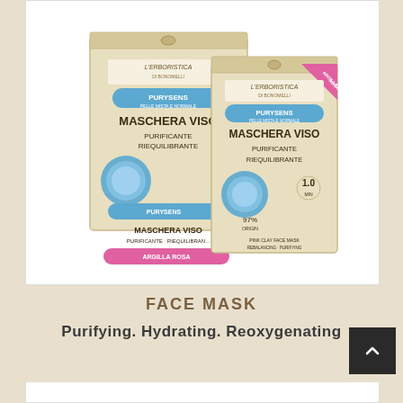[Figure (photo): Product photo of L'Erboristica Purysens Maschera Viso (Face Mask) - showing a box and two individual packet sachets in beige/cream packaging with blue bubble design, ARGILLA ROSA (pink clay) label, and pink/teal accent colors]
FACE MASK
Purifying. Hydrating. Reoxygenating